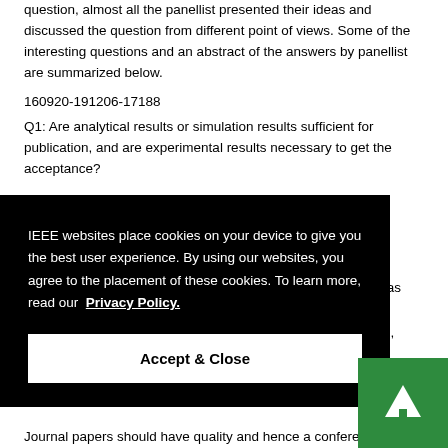question, almost all the panellist presented their ideas and discussed the question from different point of views. Some of the interesting questions and an abstract of the answers by panellist are summarized below.
160920-191206-17188
Q1: Are analytical results or simulation results sufficient for publication, and are experimental results necessary to get the acceptance?
[Figure (screenshot): IEEE cookie consent overlay with black background. Text reads: 'IEEE websites place cookies on your device to give you the best user experience. By using our websites, you agree to the placement of these cookies. To learn more, read our Privacy Policy.' Button: 'Accept & Close'. Green AI button in bottom-right corner with upward arrow icon.]
Journal papers should have quality and hence a conference paper